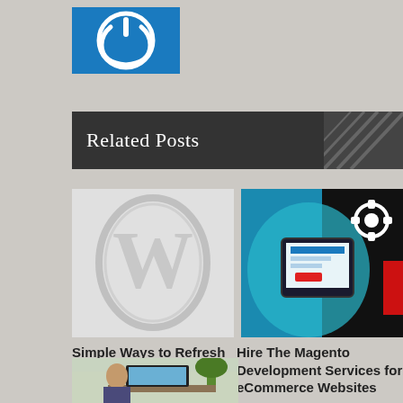[Figure (logo): Blue square logo with white power/circle icon]
Related Posts
[Figure (illustration): WordPress logo - white W in oval on gray background]
[Figure (illustration): Magento/eCommerce development - tablet device with gears on teal/dark background]
Simple Ways to Refresh Your Website
Hire The Magento Development Services for eCommerce Websites
[Figure (photo): Partial photo of person at computer desk]